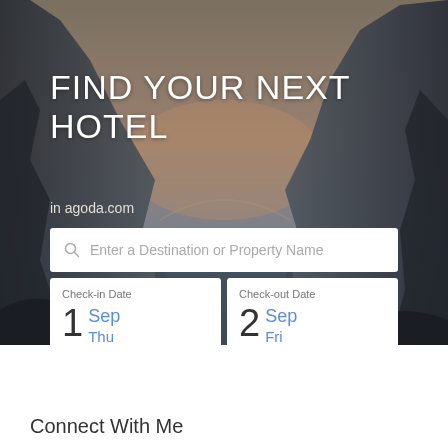[Figure (photo): Hero banner with dark coastal rocky cliffs and sunset sky background]
FIND YOUR NEXT HOTEL
in agoda.com
Enter a Destination or Property Name
Check-in Date 1 Sep Thu
Check-out Date 2 Sep Fri
1 Room 1 Guest
Search
Connect With Me